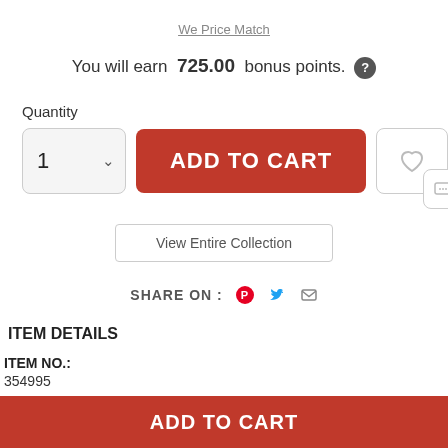We Price Match
You will earn 725.00 bonus points. ?
Quantity
ADD TO CART
View Entire Collection
SHARE ON :
ITEM DETAILS
ITEM NO.:
354995
SKU:
ADD TO CART